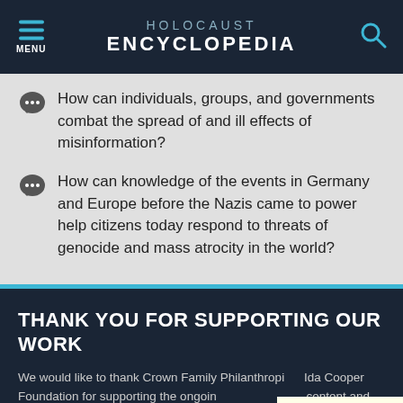HOLOCAUST ENCYCLOPEDIA
How can individuals, groups, and governments combat the spread of and ill effects of misinformation?
How can knowledge of the events in Germany and Europe before the Nazis came to power help citizens today respond to threats of genocide and mass atrocity in the world?
THANK YOU FOR SUPPORTING OUR WORK
We would like to thank Crown Family Philanthropies, Abe and Ida Cooper Foundation for supporting the ongoing work to create content and resources for the Holocaust Encyclopedia. View the list